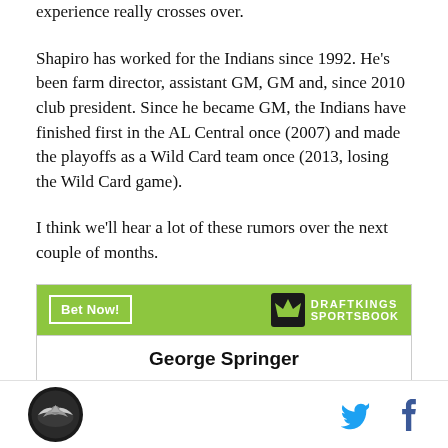experience really crosses over.
Shapiro has worked for the Indians since 1992. He's been farm director, assistant GM, GM and, since 2010 club president. Since he became GM, the Indians have finished first in the AL Central once (2007) and made the playoffs as a Wild Card team once (2013, losing the Wild Card game).
I think we'll hear a lot of these rumors over the next couple of months.
[Figure (other): DraftKings Sportsbook advertisement widget showing 'Bet Now!' button and George Springer as featured player]
SB Nation logo with Twitter and Facebook share icons